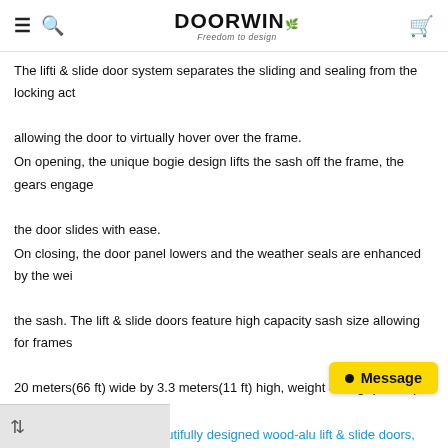DOORWIN — Freedom to design
The lifti & slide door system separates the sliding and sealing from the locking act allowing the door to virtually hover over the frame.
On opening, the unique bogie design lifts the sash off the frame, the gears engage the door slides with ease.
On closing, the door panel lowers and the weather seals are enhanced by the weight of the sash. The lift & slide doors feature high capacity sash size allowing for frames 20 meters(66 ft) wide by 3.3 meters(11 ft) high, weight 400kgs(880lbs) per sash.
We just finished these beautifully designed wood-alu lift & slide doors, were for our Client. with Super Large door panel to perfect view, Fitted with Heavy-Duty German hardware for Life-Time Use. And it featured a transom top. From the European design standards, the doors exceed CE standards of security, strength, thermal and acoustic...